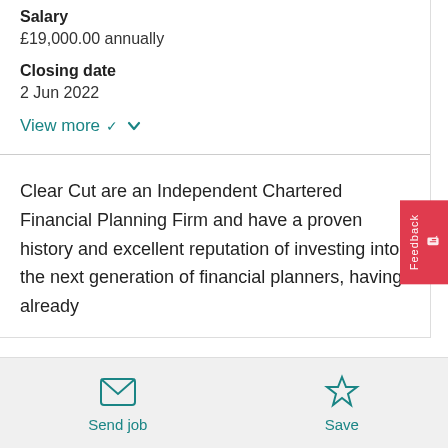Salary
£19,000.00 annually
Closing date
2 Jun 2022
View more
Clear Cut are an Independent Chartered Financial Planning Firm and have a proven history and excellent reputation of investing into the next generation of financial planners, having already
Send job
Save